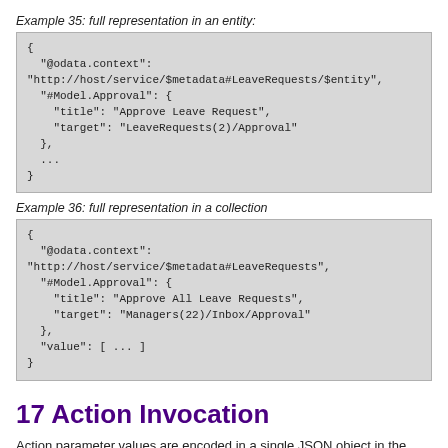Example 35: full representation in an entity:
{
  "@odata.context":
"http://host/service/$metadata#LeaveRequests/$entity",
  "#Model.Approval": {
    "title": "Approve Leave Request",
    "target": "LeaveRequests(2)/Approval"
  },
  ...
}
Example 36: full representation in a collection
{
  "@odata.context":
"http://host/service/$metadata#LeaveRequests",
  "#Model.Approval": {
    "title": "Approve All Leave Requests",
    "target": "Managers(22)/Inbox/Approval"
  },
  "value": [ ... ]
}
17 Action Invocation
Action parameter values are encoded in a single JSON object in the request body.
Each non-binding parameter value is encoded as a separate name/value